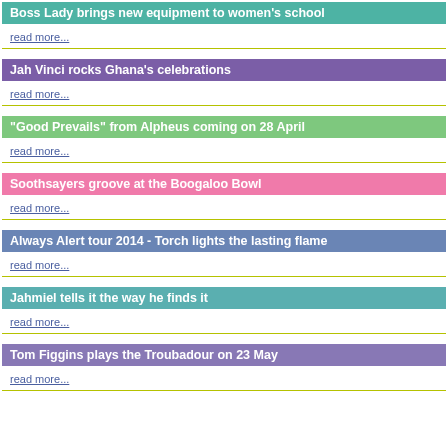Boss Lady brings new equipment to women's school
read more...
Jah Vinci rocks Ghana's celebrations
read more...
"Good Prevails" from Alpheus coming on 28 April
read more...
Soothsayers groove at the Boogaloo Bowl
read more...
Always Alert tour 2014 - Torch lights the lasting flame
read more...
Jahmiel tells it the way he finds it
read more...
Tom Figgins plays the Troubadour on 23 May
read more...